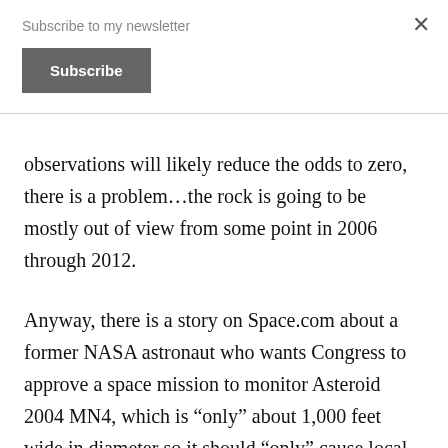Subscribe to my newsletter
Subscribe
observations will likely reduce the odds to zero, there is a problem…the rock is going to be mostly out of view from some point in 2006 through 2012.
Anyway, there is a story on Space.com about a former NASA astronaut who wants Congress to approve a space mission to monitor Asteroid 2004 MN4, which is “only” about 1,000 feet wide in diameter so it should “only” cause local or regional devastation… as opposed to the whole wiping out